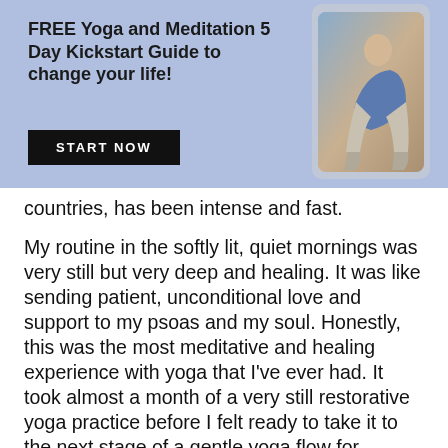FREE Yoga and Meditation 5 Day Kickstart Guide to change your life!
START NOW
[Figure (photo): A woman sitting outdoors in a meditative or yoga pose, shown on a phone/tablet screen mockup]
countries, has been intense and fast.
My routine in the softly lit, quiet mornings was very still but very deep and healing. It was like sending patient, unconditional love and support to my psoas and my soul. Honestly, this was the most meditative and healing experience with yoga that I've ever had. It took almost a month of a very still restorative yoga practice before I felt ready to take it to the next stage of a gentle yoga flow for stretching and strengthening my low back. This is where I'm at now and I'm enjoying the process of patiently following